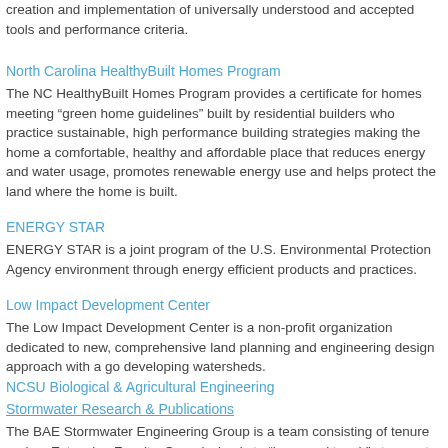creation and implementation of universally understood and accepted tools and performance criteria.
North Carolina HealthyBuilt Homes Program
The NC HealthyBuilt Homes Program provides a certificate for homes meeting “green home guidelines” built by residential builders who practice sustainable, high performance building strategies making the home a comfortable, healthy and affordable place that reduces energy and water usage, promotes renewable energy use and helps protect the land where the home is built.
ENERGY STAR
ENERGY STAR is a joint program of the U.S. Environmental Protection Agency environment through energy efficient products and practices.
Low Impact Development Center
The Low Impact Development Center is a non-profit organization dedicated to new, comprehensive land planning and engineering design approach with a go developing watersheds.
NCSU Biological & Agricultural Engineering
Stormwater Research & Publications
The BAE Stormwater Engineering Group is a team consisting of tenure and no Extension Faculty. Our mission is to “learn and teach” stormwater managemer